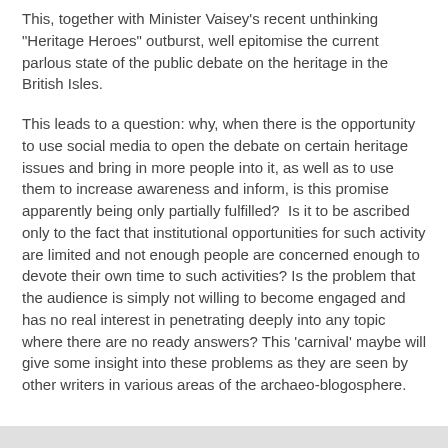This, together with Minister Vaisey's recent unthinking "Heritage Heroes" outburst, well epitomise the current parlous state of the public debate on the heritage in the British Isles.
This leads to a question: why, when there is the opportunity to use social media to open the debate on certain heritage issues and bring in more people into it, as well as to use them to increase awareness and inform, is this promise apparently being only partially fulfilled?  Is it to be ascribed only to the fact that institutional opportunities for such activity are limited and not enough people are concerned enough to devote their own time to such activities? Is the problem that the audience is simply not willing to become engaged and has no real interest in penetrating deeply into any topic where there are no ready answers? This 'carnival' maybe will give some insight into these problems as they are seen by other writers in various areas of the archaeo-blogosphere.